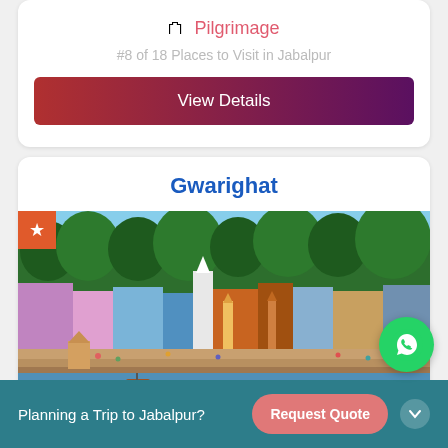Pilgrimage
#8 of 18 Places to Visit in Jabalpur
View Details
Gwarighat
[Figure (photo): Aerial view of Gwarighat showing river ghats, temples, colorful buildings, boats on the Narmada river, and dense green trees in the background.]
Planning a Trip to Jabalpur?
Request Quote